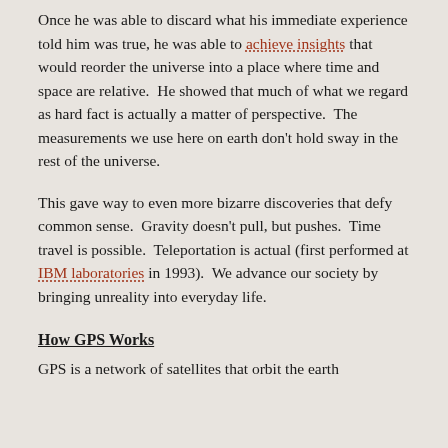Once he was able to discard what his immediate experience told him was true, he was able to achieve insights that would reorder the universe into a place where time and space are relative. He showed that much of what we regard as hard fact is actually a matter of perspective. The measurements we use here on earth don't hold sway in the rest of the universe.
This gave way to even more bizarre discoveries that defy common sense. Gravity doesn't pull, but pushes. Time travel is possible. Teleportation is actual (first performed at IBM laboratories in 1993). We advance our society by bringing unreality into everyday life.
How GPS Works
GPS is a network of satellites that orbit the earth...